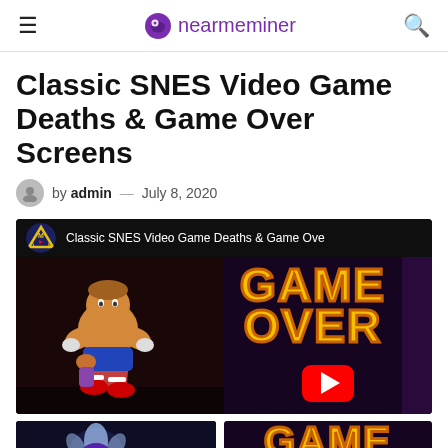nearmeminer
Classic SNES Video Game Deaths & Game Over Screens
by admin — July 8, 2020
[Figure (screenshot): YouTube video thumbnail for 'Classic SNES Video Game Deaths & Game Over Screens' showing a muscular fighter character on left and a yellow 'GAME OVER' text on dark background on the right, with a YouTube play button overlay. Channel logo shows a triangle-based icon.]